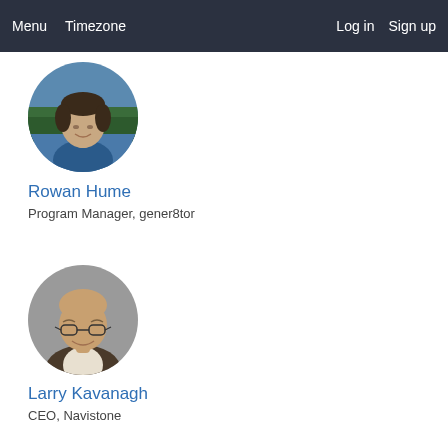Menu  Timezone  Log in  Sign up
[Figure (photo): Circular profile photo of Rowan Hume, a young person smiling outdoors near water with trees in background, wearing a blue top.]
Rowan Hume
Program Manager, gener8tor
[Figure (photo): Circular profile photo of Larry Kavanagh, a middle-aged bald man with glasses smiling, wearing a suit jacket.]
Larry Kavanagh
CEO, Navistone